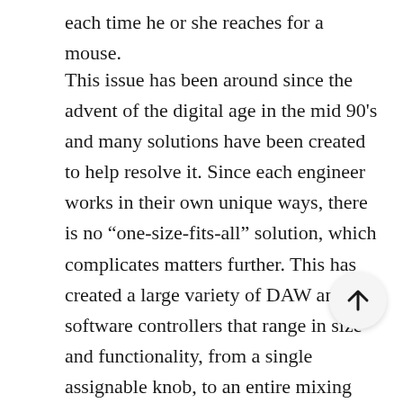each time he or she reaches for a mouse.
This issue has been around since the advent of the digital age in the mid 90’s and many solutions have been created to help resolve it. Since each engineer works in their own unique ways, there is no “one-size-fits-all” solution, which complicates matters further. This has created a large variety of DAW and software controllers that range in size and functionality, from a single assignable knob, to an entire mixing console with every fader, button, and knob mapped to the corresponding control in your software. Choosing a DAW controller has never been easier (or more difficult). I will take you through a few of the options available today in all price and feature ranges. We’ll start small